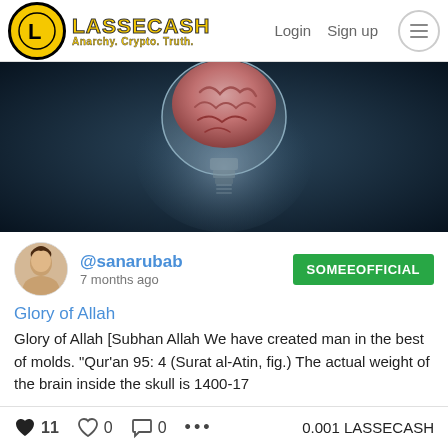LASSECASH Anarchy. Crypto. Truth. Login Sign up
[Figure (photo): A brain inside a light bulb against a dark blue background]
@sanarubab 7 months ago SOMEEOFFICIAL
Glory of Allah
Glory of Allah [Subhan Allah We have created man in the best of molds. "Qur'an 95: 4 (Surat al-Atin, fig.) The actual weight of the brain inside the skull is 1400-17
11  0  0  ...  0.001 LASSECASH